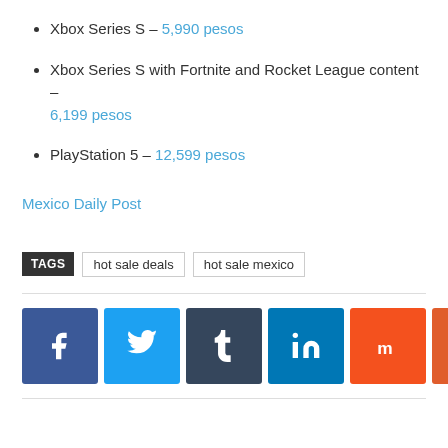Xbox Series S – 5,990 pesos
Xbox Series S with Fortnite and Rocket League content – 6,199 pesos
PlayStation 5 – 12,599 pesos
Mexico Daily Post
TAGS  hot sale deals  hot sale mexico
[Figure (infographic): Row of 8 social media share buttons: Facebook (blue), Twitter (light blue), Tumblr (dark blue-grey), LinkedIn (blue), Mix (orange-red), Reddit (orange), WhatsApp (green), Pinterest (dark red)]